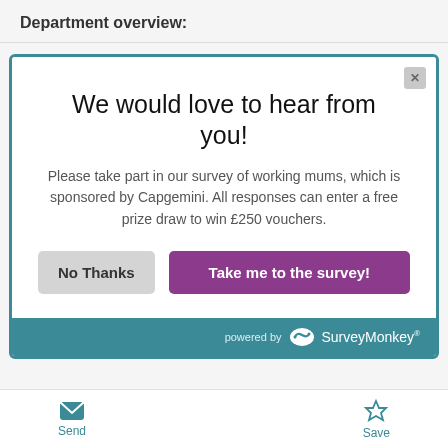Department overview:
[Figure (screenshot): A SurveyMonkey popup modal with teal border. Title: 'We would love to hear from you!' Body text: 'Please take part in our survey of working mums, which is sponsored by Capgemini. All responses can enter a free prize draw to win £250 vouchers.' Two buttons: 'No Thanks' (grey) and 'Take me to the survey!' (purple). Footer shows 'powered by SurveyMonkey' on teal background.]
Send   Save